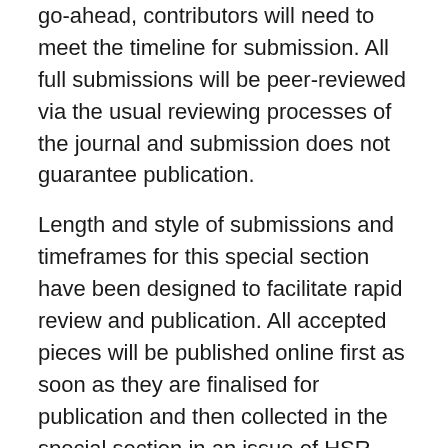go-ahead, contributors will need to meet the timeline for submission. All full submissions will be peer-reviewed via the usual reviewing processes of the journal and submission does not guarantee publication.
Length and style of submissions and timeframes for this special section have been designed to facilitate rapid review and publication. All accepted pieces will be published online first as soon as they are finalised for publication and then collected in the special section in an issue of HSR, accompanied by a short introduction authored by Lupton.
Pieces need not be standard sociological articles reporting on empirical findings. They can take a range of formats, including commentaries, theoretical/conceptual analyses, media or policy document analysis and